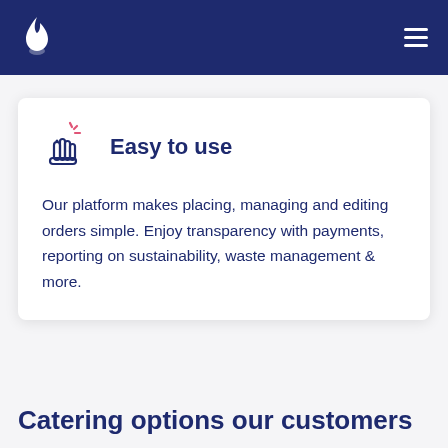Easy to use
Our platform makes placing, managing and editing orders simple. Enjoy transparency with payments, reporting on sustainability, waste management & more.
Catering options our customers